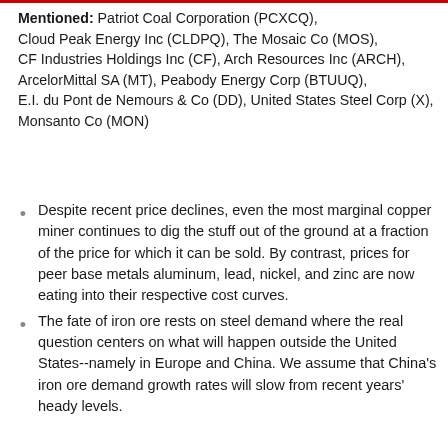Mentioned: Patriot Coal Corporation (PCXCQ), Cloud Peak Energy Inc (CLDPQ), The Mosaic Co (MOS), CF Industries Holdings Inc (CF), Arch Resources Inc (ARCH), ArcelorMittal SA (MT), Peabody Energy Corp (BTUUQ), E.I. du Pont de Nemours & Co (DD), United States Steel Corp (X), Monsanto Co (MON)
Despite recent price declines, even the most marginal copper miner continues to dig the stuff out of the ground at a fraction of the price for which it can be sold. By contrast, prices for peer base metals aluminum, lead, nickel, and zinc are now eating into their respective cost curves.
The fate of iron ore rests on steel demand where the real question centers on what will happen outside the United States--namely in Europe and China. We assume that China's iron ore demand growth rates will slow from recent years' heady levels.